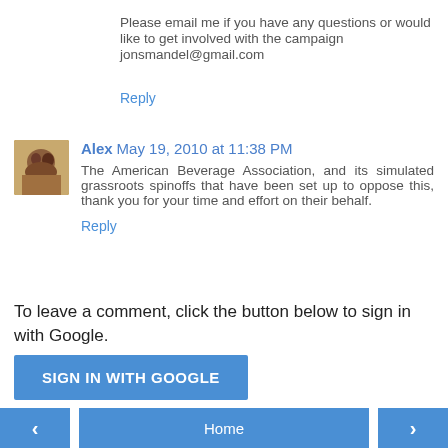Please email me if you have any questions or would like to get involved with the campaign jonsmandel@gmail.com
Reply
Alex May 19, 2010 at 11:38 PM
The American Beverage Association, and its simulated grassroots spinoffs that have been set up to oppose this, thank you for your time and effort on their behalf.
Reply
To leave a comment, click the button below to sign in with Google.
SIGN IN WITH GOOGLE
Home